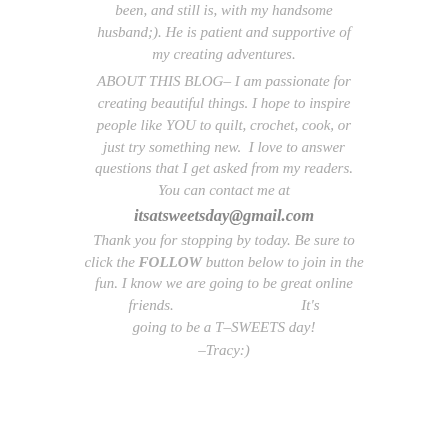been, and still is, with my handsome husband;). He is patient and supportive of my creating adventures.
ABOUT THIS BLOG– I am passionate for creating beautiful things. I hope to inspire people like YOU to quilt, crochet, cook, or just try something new. I love to answer questions that I get asked from my readers. You can contact me at
itsatsweetsday@gmail.com
Thank you for stopping by today. Be sure to click the FOLLOW button below to join in the fun. I know we are going to be great online friends.                                          It's going to be a T–SWEETS day!
–Tracy:)